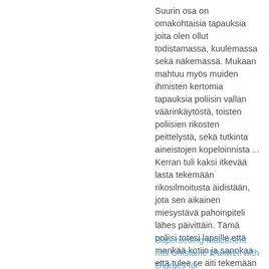Suurin osa on omakohtaisia tapauksia joita olen ollut todistamassa, kuulemassa sekä näkemässä. Mukaan mahtuu myös muiden ihmisten kertomia tapauksia poliisin vallan väärinkäytöstä, toisten poliisien rikosten peittelystä, sekä tutkinta aineistojen kopeloinnista ... Kerran tuli kaksi itkevää lasta tekemään rikosilmoitusta äidistään, jota sen aikainen miesystävä pahoinpiteli lähes päivittäin. Tämä poliisi totesi lapsille että menkää kotiin ja sanokaa että tulee se äiti tekemään jutun jos tahtoo."
Superseding Indictment hits Ghislaine Maxwell with charges for